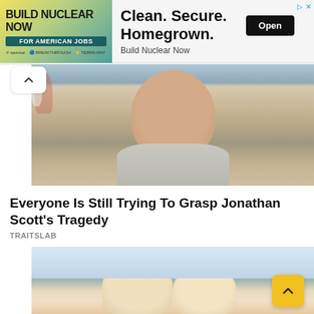[Figure (screenshot): Advertisement banner for Build Nuclear Now - Clean. Secure. Homegrown. with Open button]
[Figure (photo): Photo of a man (Jonathan Scott) looking at the camera, slightly smiling, wearing a light grey shirt, blurred outdoor background]
Everyone Is Still Trying To Grasp Jonathan Scott's Tragedy
TRAITSLAB
[Figure (photo): Photo of two blonde girls/women smiling outdoors with bare winter trees in background]